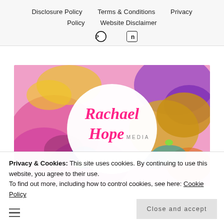Disclosure Policy   Terms & Conditions   Privacy Policy   Website Disclaimer
[Figure (logo): Rachael Hope Media logo on colorful abstract painted background with pinks, yellows, blues, and golds. White circle in center with 'Rachael Hope MEDIA' in pink script.]
Privacy & Cookies: This site uses cookies. By continuing to use this website, you agree to their use.
To find out more, including how to control cookies, see here: Cookie Policy